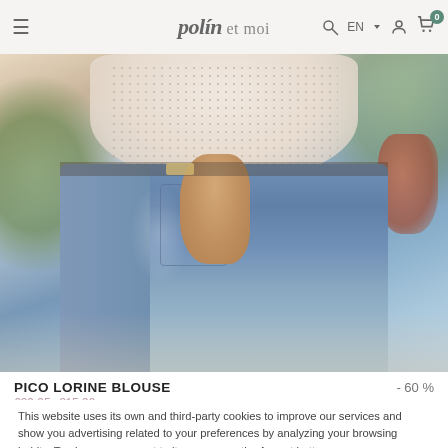polin et moi — navigation bar with hamburger menu, logo, search, EN language selector, account, cart (0)
[Figure (photo): Close-up photo of a woman wearing jeans with hand in pocket and a light floral blouse, outdoor background with plants and terracotta pot]
PICO LORINE BLOUSE
- 60 %
€39.95  €15.99
This website uses its own and third-party cookies to improve our services and show you advertising related to your preferences by analyzing your browsing habits. To give your consent to its use, press the Accept button.
More information   Customize cookies
I ACCEPT